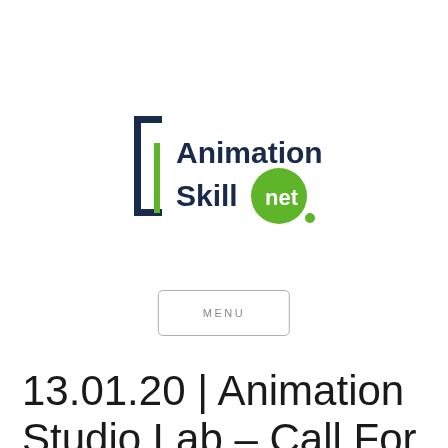[Figure (logo): Animation Skillnet logo: dark navy bracket/L-shape with green vertical bar on the left, text 'Animation' in dark navy bold above, 'Skill' in dark navy bold with 'net' in white text inside a green circle, followed by a green comma/dot]
MENU
13.01.20 | Animation Studio Lab – Call For